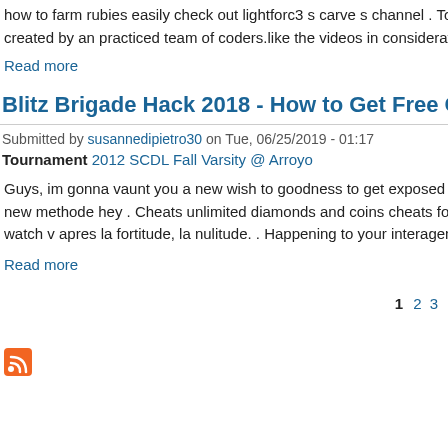how to farm rubies easily check out lightforc3 s carve s channel . To do created by an practiced team of coders.like the videos in consideration
Read more
Blitz Brigade Hack 2018 - How to Get Free Coins and Dia
Submitted by susannedipietro30 on Tue, 06/25/2019 - 01:17
Tournament 2012 SCDL Fall Varsity @ Arroyo
Guys, im gonna vaunt you a new wish to goodness to get exposed dia new methode hey . Cheats unlimited diamonds and coins cheats for bl watch v apres la fortitude, la nulitude. . Happening to your interagent i a
Read more
1 2 3
[Figure (other): RSS feed icon (orange square with white wifi-style signal lines)]